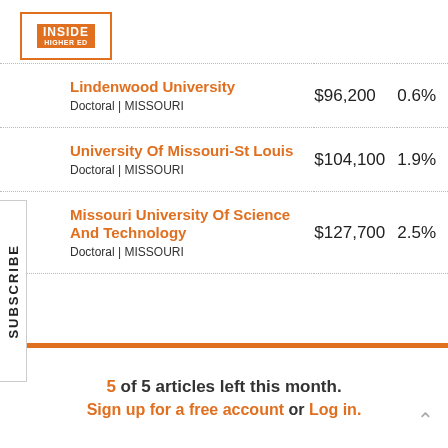Inside Higher Ed
| Institution | Salary | Change |
| --- | --- | --- |
| Aurora University | Doctoral | ILLINOIS | $94,600 | 1.8% |
| Lindenwood University | Doctoral | MISSOURI | $96,200 | 0.6% |
| University Of Missouri-St Louis | Doctoral | MISSOURI | $104,100 | 1.9% |
| Missouri University Of Science And Technology | Doctoral | MISSOURI | $127,700 | 2.5% |
5 of 5 articles left this month. Sign up for a free account or Log in.